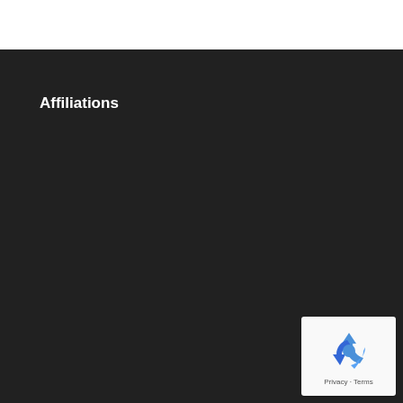Affiliations
[Figure (other): Google reCAPTCHA widget showing the recycling arrow logo with 'Privacy - Terms' text below on a light background, overlaid on the dark page background.]